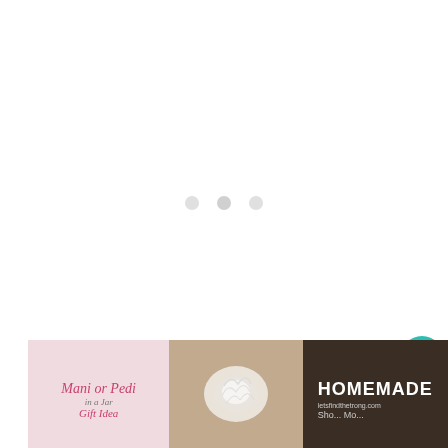[Figure (other): Mostly white/blank content area with three light gray dots in the center, resembling a loading or carousel indicator. A teal circular heart button appears at bottom right of the main area, and a white circular share button below it.]
[Figure (photo): Thumbnail image: pink background with cursive text 'Mani or Pedi in a Jar Gift Idea' in pink and dark script]
[Figure (photo): Thumbnail image: warm brown/tan background showing a white loofah or bath puff]
[Figure (photo): Thumbnail image: dark brown/charcoal background with bold white uppercase text 'HOMEMADE' and smaller text below]